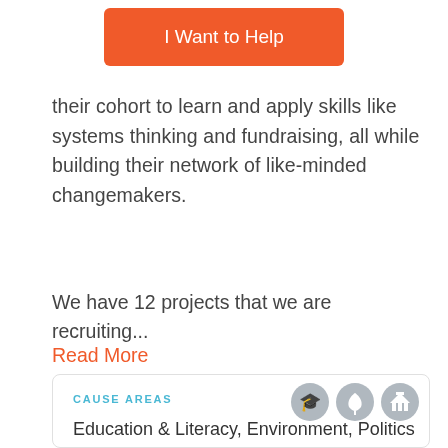[Figure (other): Orange 'I Want to Help' button]
their cohort to learn and apply skills like systems thinking and fundraising, all while building their network of like-minded changemakers.
We have 12 projects that we are recruiting...
Read More
CAUSE AREAS
Education & Literacy, Environment, Politics
WHEN
We'll work with your schedule